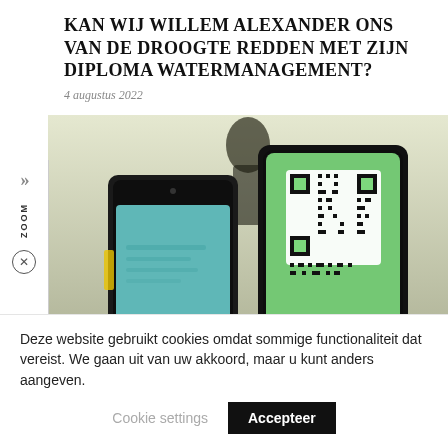KAN WIJ WILLEM ALEXANDER ONS VAN DE DROOGTE REDDEN MET ZIJN DIPLOMA WATERMANAGEMENT?
4 augustus 2022
[Figure (photo): Two smartphones held side by side. The left phone shows a screen with text content; the right phone displays a QR code on a green/teal background. A hand is visible holding the right phone. Background is blurred outdoors scene.]
Deze website gebruikt cookies omdat sommige functionaliteit dat vereist. We gaan uit van uw akkoord, maar u kunt anders aangeven.
Cookie settings
Accepteer